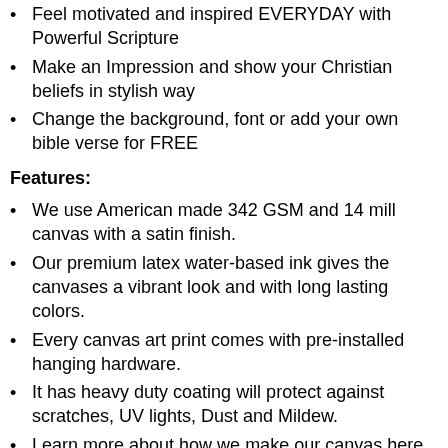Feel motivated and inspired EVERYDAY with Powerful Scripture
Make an Impression and show your Christian beliefs in stylish way
Change the background, font or add your own bible verse for FREE
Features:
We use American made 342 GSM and 14 mill canvas with a satin finish.
Our premium latex water-based ink gives the canvases a vibrant look and with long lasting colors.
Every canvas art print comes with pre-installed hanging hardware.
It has heavy duty coating will protect against scratches, UV lights, Dust and Mildew.
Learn more about how we make our canvas here